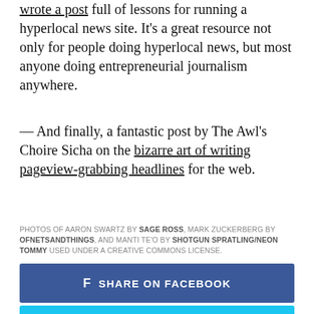wrote a post full of lessons for running a hyperlocal news site. It's a great resource not only for people doing hyperlocal news, but most anyone doing entrepreneurial journalism anywhere.
— And finally, a fantastic post by The Awl's Choire Sicha on the bizarre art of writing pageview-grabbing headlines for the web.
PHOTOS OF AARON SWARTZ BY SAGE ROSS, MARK ZUCKERBERG BY OFNETSANDTHINGS, AND MANTI TE'O BY SHOTGUN SPRATLING/NEON TOMMY USED UNDER A CREATIVE COMMONS LICENSE.
f  SHARE ON FACEBOOK
TWEET